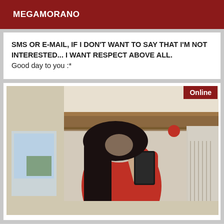MEGAMORANO
SMS OR E-MAIL, IF I DON'T WANT TO SAY THAT I'M NOT INTERESTED... I WANT RESPECT ABOVE ALL. Good day to you :*
[Figure (photo): Mirror selfie of a person in a red dress holding a smartphone, taken indoors with wooden paneling visible in the background. An 'Online' badge appears in the top-right corner of the photo.]